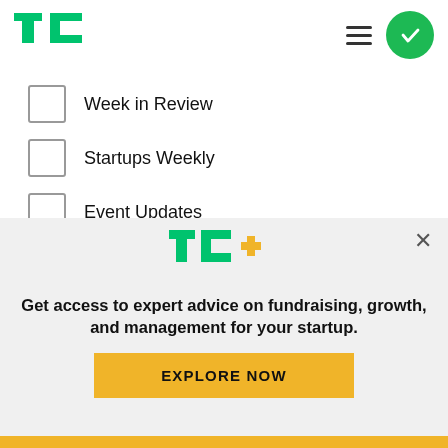[Figure (logo): TechCrunch TC green logo in header]
Week in Review
Startups Weekly
Event Updates
Advertising Updates
TechCrunch+ Announcements
TechCrunch+ Events
TechCrunch+ Roundup
[Figure (logo): TC+ (TechCrunch Plus) green and yellow logo in overlay]
Get access to expert advice on fundraising, growth, and management for your startup.
EXPLORE NOW